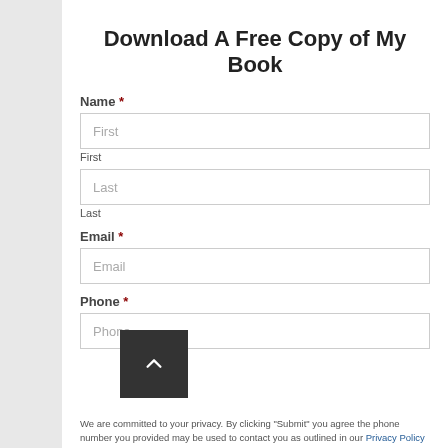Download A Free Copy of My Book
Name *
First
First
Last
Last
Email *
Email
Phone *
Phone
We are committed to your privacy. By clicking "Submit" you agree the phone number you provided may be used to contact you as outlined in our Privacy Policy